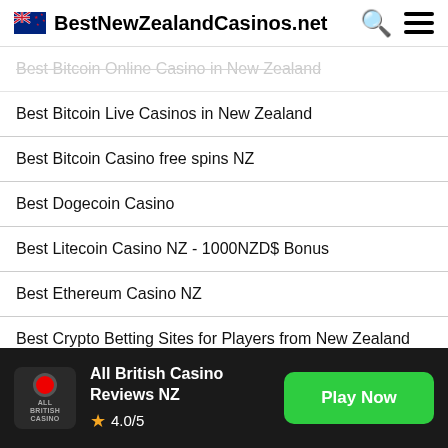BestNewZealandCasinos.net
Best Bitcoin Online Casino in New Zealand
Best Bitcoin Live Casinos in New Zealand
Best Bitcoin Casino free spins NZ
Best Dogecoin Casino
Best Litecoin Casino NZ - 1000NZD$ Bonus
Best Ethereum Casino NZ
Best Crypto Betting Sites for Players from New Zealand
Best Crypto Betting Apps for NZ Players
All British Casino Reviews NZ 4.0/5 Play Now